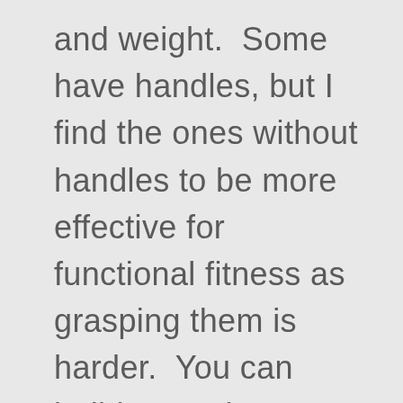and weight.  Some have handles, but I find the ones without handles to be more effective for functional fitness as grasping them is harder.  You can build an entire workout using sandbags and bodyweight.